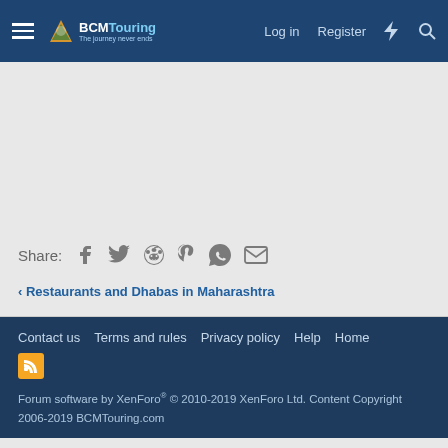BCMTouring — Log in | Register
[Figure (other): Empty advertisement or content area (gray background)]
Share: (Facebook, Twitter, Reddit, Pinterest, WhatsApp, Email icons)
< Restaurants and Dhabas in Maharashtra
Contact us  Terms and rules  Privacy policy  Help  Home
Forum software by XenForo® © 2010-2019 XenForo Ltd. Content Copyright 2006-2019 BCMTouring.com